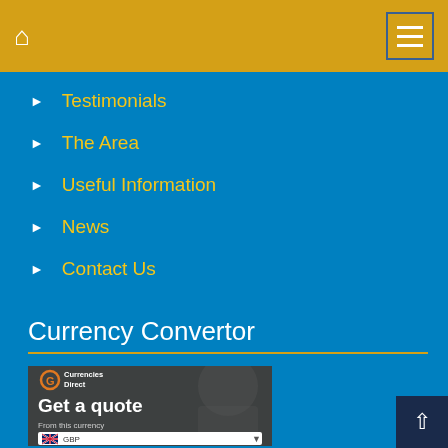Home | Menu
Testimonials
The Area
Useful Information
News
Contact Us
Currency Convertor
[Figure (screenshot): Currencies Direct currency converter widget showing 'Get a quote', 'From this currency', and a GBP dropdown with UK flag]